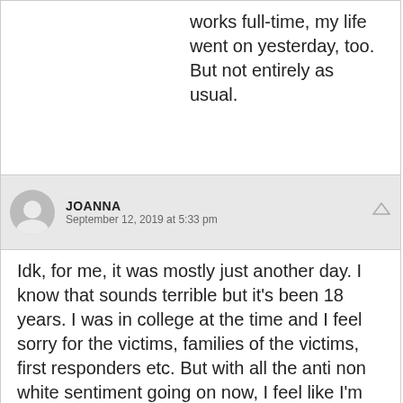works full-time, my life went on yesterday, too. But not entirely as usual.
JOANNA
September 12, 2019 at 5:33 pm
Idk, for me, it was mostly just another day. I know that sounds terrible but it's been 18 years. I was in college at the time and I feel sorry for the victims, families of the victims, first responders etc. But with all the anti non white sentiment going on now, I feel like I'm feeding into that mentality by making a huge deal about it. I worked with many foreign customers at my old job and I learned that they are people like us. I feel like I'm feeding into the anti non white sentiment by making a big deal out of it.